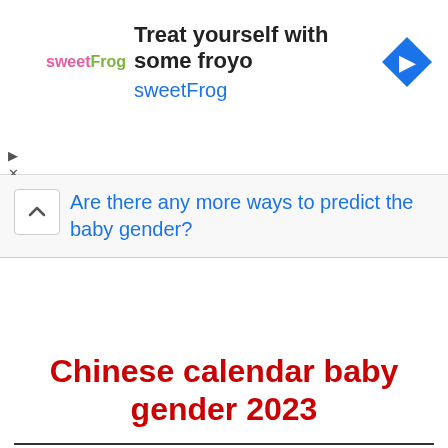[Figure (other): Advertisement banner for sweetFrog frozen yogurt with logo, headline text 'Treat yourself with some froyo', brand name 'sweetFrog', and a blue navigation arrow icon]
Are there any more ways to predict the baby gender?
Chinese calendar baby gender 2023
Chinese calendar baby gender 2023 is a lunar calendar based on ancient Chinese gender calendar theory. It predicts the Baby's gender on the basis of the mother's lunar date of birth and date of conception. The Chinese